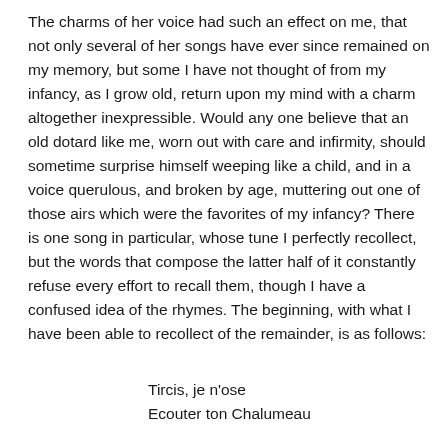The charms of her voice had such an effect on me, that not only several of her songs have ever since remained on my memory, but some I have not thought of from my infancy, as I grow old, return upon my mind with a charm altogether inexpressible. Would any one believe that an old dotard like me, worn out with care and infirmity, should sometime surprise himself weeping like a child, and in a voice querulous, and broken by age, muttering out one of those airs which were the favorites of my infancy? There is one song in particular, whose tune I perfectly recollect, but the words that compose the latter half of it constantly refuse every effort to recall them, though I have a confused idea of the rhymes. The beginning, with what I have been able to recollect of the remainder, is as follows:
Tircis, je n'ose
Ecouter ton Chalumeau